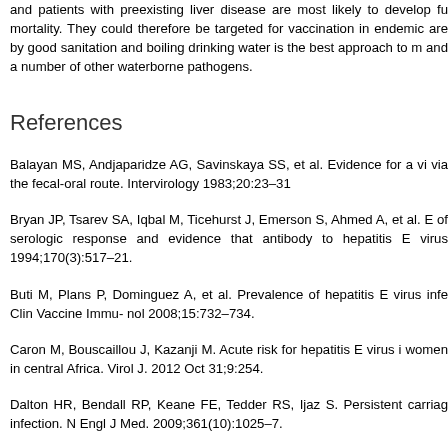and patients with preexisting liver disease are most likely to develop fu mortality. They could therefore be targeted for vaccination in endemic are by good sanitation and boiling drinking water is the best approach to m and a number of other waterborne pathogens.
References
Balayan MS, Andjaparidze AG, Savinskaya SS, et al. Evidence for a vi via the fecal-oral route. Intervirology 1983;20:23–31
Bryan JP, Tsarev SA, Iqbal M, Ticehurst J, Emerson S, Ahmed A, et al. E of serologic response and evidence that antibody to hepatitis E virus 1994;170(3):517–21.
Buti M, Plans P, Dominguez A, et al. Prevalence of hepatitis E virus infe Clin Vaccine Immu- nol 2008;15:732–734.
Caron M, Bouscaillou J, Kazanji M. Acute risk for hepatitis E virus i women in central Africa. Virol J. 2012 Oct 31;9:254.
Dalton HR, Bendall RP, Keane FE, Tedder RS, Ijaz S. Persistent carriag infection. N Engl J Med. 2009;361(10):1025–7.